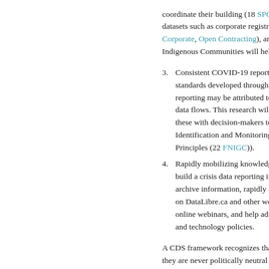coordinate their building (18 SPCO datasets such as corporate registries, Corporate, Open Contracting), and e Indigenous Communities will help id
3. Consistent COVID-19 reporting requ standards developed through conse reporting may be attributed to a lack data flows. This research will develo these with decision-makers to impro Identification and Monitoring of Syst Principles (22 FNIGC)).
4. Rapidly mobilizing knowledge is imp build a crisis data reporting infrastru archive information, rapidly assess a on DataLibre.ca and other websites, online webinars, and help administra and technology policies.
A CDS framework recognizes that data they are never politically neutral while a who create them including practices, te data, technology, legal, social and hea COVID-19 data assemblages and to ac real time and mobilize results to mitiga support decision makers to respond wi now and to better respond in the future